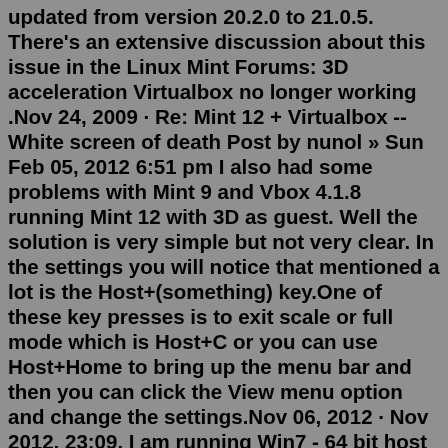updated from version 20.2.0 to 21.0.5. There's an extensive discussion about this issue in the Linux Mint Forums: 3D acceleration Virtualbox no longer working .Nov 24, 2009 · Re: Mint 12 + Virtualbox -- White screen of death Post by nunol » Sun Feb 05, 2012 6:51 pm I also had some problems with Mint 9 and Vbox 4.1.8 running Mint 12 with 3D as guest. Well the solution is very simple but not very clear. In the settings you will notice that mentioned a lot is the Host+(something) key.One of these key presses is to exit scale or full mode which is Host+C or you can use Host+Home to bring up the menu bar and then you can click the View menu option and change the settings.Nov 06, 2012 · Nov 2012, 23:09. I am running Win7 - 64 bit host and Guest. I have tried Virtualbox 3.x and currently v4.1.12 (which is the highest version I can use to be compatible with ShadowProtect). My Screen sometimes (randomly) turns white with black side-borders. If I shut-down the VM, I can transiently see the desktop again before it is completely ... Go to Windows Start -> All Programs -> Accessories ->